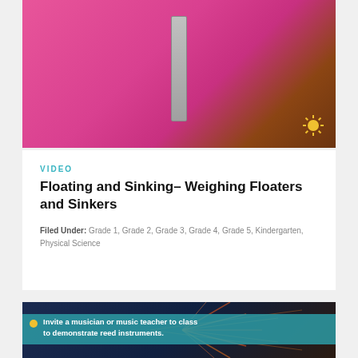[Figure (photo): A person in a pink dress holding a measuring instrument, likely demonstrating a science activity. A sun logo watermark is visible in the bottom right corner of the image.]
VIDEO
Floating and Sinking– Weighing Floaters and Sinkers
Filed Under: Grade 1, Grade 2, Grade 3, Grade 4, Grade 5, Kindergarten, Physical Science
[Figure (photo): A fireworks background image with a teal/turquoise band overlay containing text: 'Invite a musician or music teacher to class to demonstrate reed instruments.' with a yellow bullet point.]